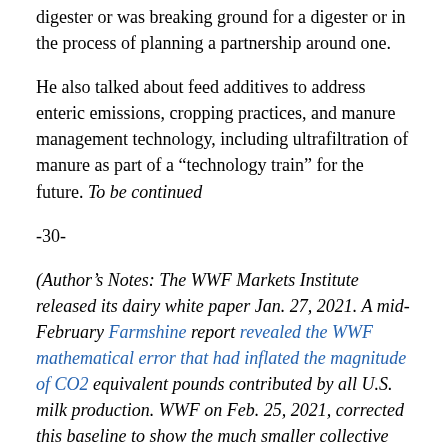digester or was breaking ground for a digester or in the process of planning a partnership around one.
He also talked about feed additives to address enteric emissions, cropping practices, and manure management technology, including ultrafiltration of manure as part of a “technology train” for the future. To be continued
-30-
(Author’s Notes: The WWF Markets Institute released its dairy white paper Jan. 27, 2021. A mid-February Farmshine report revealed the WWF mathematical error that had inflated the magnitude of CO2 equivalent pounds contributed by all U.S. milk production. WWF on Feb. 25, 2021, corrected this baseline to show the much smaller collective impact of 268 billion pounds CO2 equivalent (not 2.3 trillion pounds). Both Harper and McCloskey serve on